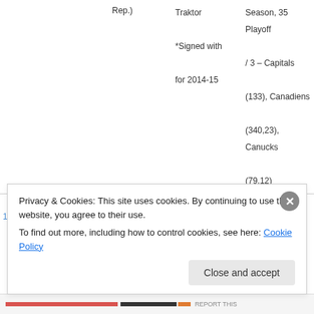| # | Name | Pos | Born | Team | Stats |
| --- | --- | --- | --- | --- | --- |
|  |  |  | Rep.) | Traktor *Signed with for 2014-15 | Season, 35 Playoff / 3 – Capitals (133), Canadiens (340,23), Canucks (79,12) |
| 14 | Dmitri Kalinin | D | 1980 (Russia) | St. Petersburg SKA *Signed with through 2016-17 | 539 Regular Season , 37 Playoff / 3 – Sabres (466,37), Rangers (59), Creator (15) |
Privacy & Cookies: This site uses cookies. By continuing to use this website, you agree to their use. To find out more, including how to control cookies, see here: Cookie Policy